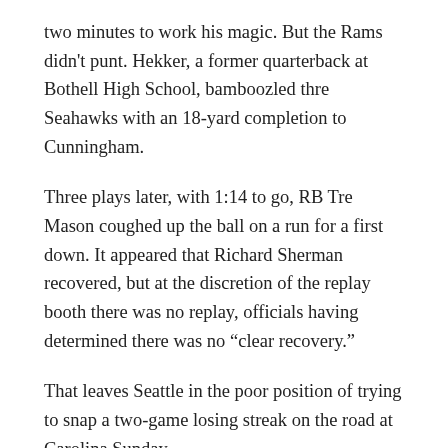two minutes to work his magic. But the Rams didn't punt. Hekker, a former quarterback at Bothell High School, bamboozled thre Seahawks with an 18-yard completion to Cunningham.
Three plays later, with 1:14 to go, RB Tre Mason coughed up the ball on a run for a first down. It appeared that Richard Sherman recovered, but at the discretion of the replay booth there was no replay, officials having determined there was no “clear recovery.”
That leaves Seattle in the poor position of trying to snap a two-game losing streak on the road at Carolina Sunday.
The Rams entered having allowed 30 or more points in four of five games. But the Seahawks couldn't do anything against them for the half when the game was effectively